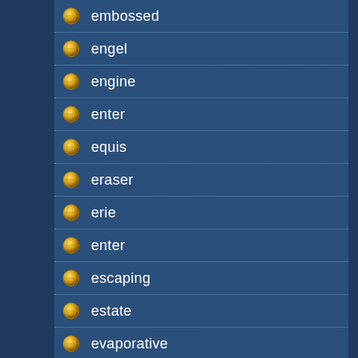embossed
engel
engine
enter
equis
eraser
erie
enter
escaping
estate
evaporative
excellent
exothermic
expensive
experience
experiment